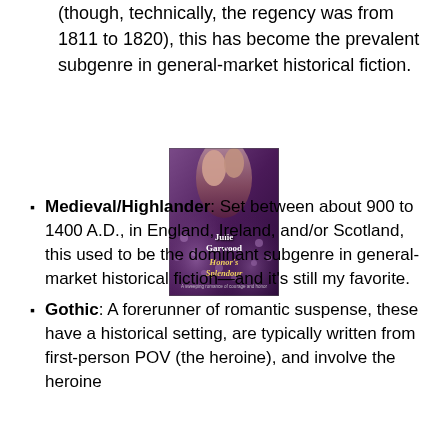(though, technically, the regency was from 1811 to 1820), this has become the prevalent subgenre in general-market historical fiction.
[Figure (illustration): Book cover of 'Honor's Splendour' by Julie Garwood, showing a romantic embrace between two figures, with a dark purple floral background.]
Medieval/Highlander: Set between about 900 to 1400 A.D., in England, Ireland, and/or Scotland, this used to be the dominant subgenre in general-market historical fiction—and it's still my favorite.
Gothic: A forerunner of romantic suspense, these have a historical setting, are typically written from first-person POV (the heroine), and involve the heroine